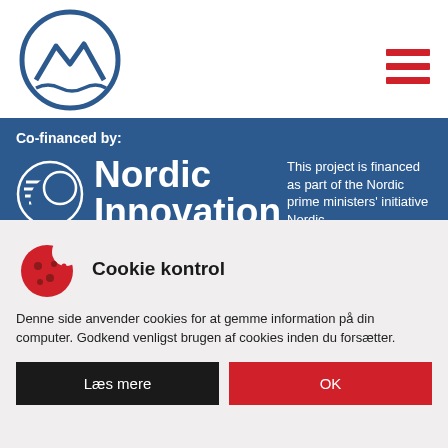[Figure (logo): Nordic mountain/wave logo in a circle, dark blue outline on white background]
[Figure (other): Hamburger menu icon with three red horizontal lines]
Co-financed by:
[Figure (logo): Nordic Innovation logo: circular emblem with horizontal lines and a leaf/wave shape, white on blue background]
Nordic Innovation
This project is financed as part of the Nordic prime ministers' initiative Nordic Sustainable Cities, which is coordinated by the Nordic Council of Ministers with the aim of strengthening the Nordic brand, add value to existing trade promotion
Cookie kontrol
Denne side anvender cookies for at gemme information på din computer. Godkend venligst brugen af cookies inden du forsætter.
Læs mere
OK